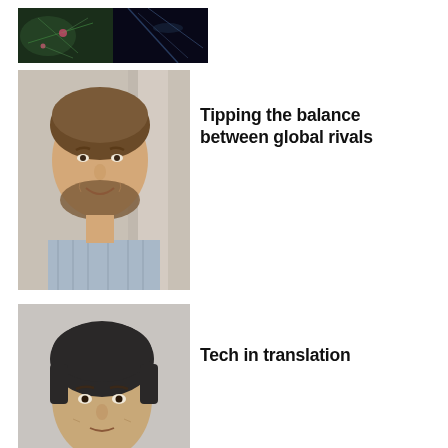[Figure (photo): Partial view of two images at the top of the page - left appears to be green abstract/science image, right appears dark/space-like]
[Figure (photo): Headshot of a young man with beard, smiling, wearing a striped shirt, in front of columns]
Tipping the balance between global rivals
[Figure (photo): Headshot of a middle-aged man with dark hair, wearing a light grey button-up shirt]
Tech in translation
[Figure (photo): MIT solar car team posing with their solar car at a competition, team wearing red shirts, car labeled MIT Nimbus]
MIT's solar car team wins American Solar Challenge for the second year in a row